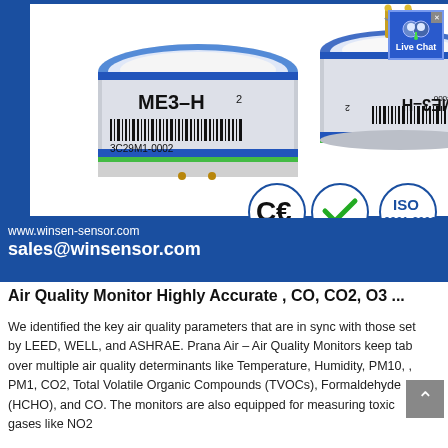[Figure (photo): Two electrochemical ME3-H2 gas sensors with blue and green banding, model 3C29M1-0002, shown from front and rotated side view. CE, RoHS, and ISO 9001:2008 certification badges shown in bottom right of banner. Live Chat widget in top right corner. Blue banner background with white product area and contact info: www.winsen-sensor.com and sales@winsensor.com]
Air Quality Monitor Highly Accurate , CO, CO2, O3 ...
We identified the key air quality parameters that are in sync with those set by LEED, WELL, and ASHRAE. Prana Air – Air Quality Monitors keep tab over multiple air quality determinants like Temperature, Humidity, PM10, , PM1, CO2, Total Volatile Organic Compounds (TVOCs), Formaldehyde (HCHO), and CO. The monitors are also equipped for measuring toxic gases like NO2